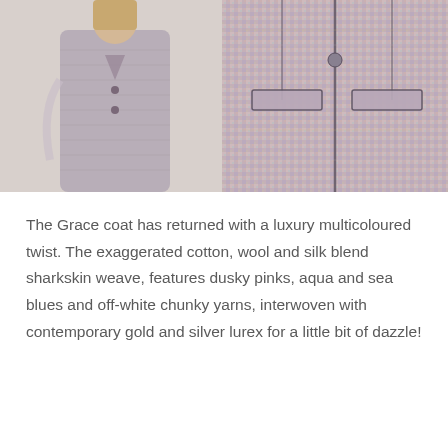[Figure (photo): Two side-by-side product photos of the Grace coat. Left: a model wearing a multicoloured tweed blazer-style coat, photographed from the side against a light grey background. Right: a close-up detail shot of the tweed fabric showing the multicoloured weave with pink, aqua, navy, white and metallic lurex yarns.]
The Grace coat has returned with a luxury multicoloured twist. The exaggerated cotton, wool and silk blend sharkskin weave, features dusky pinks, aqua and sea blues and off-white chunky yarns, interwoven with contemporary gold and silver lurex for a little bit of dazzle!